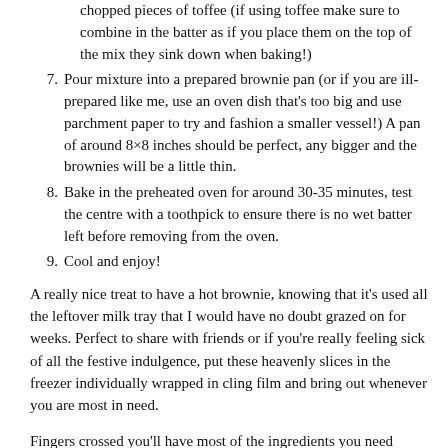chopped pieces of toffee (if using toffee make sure to combine in the batter as if you place them on the top of the mix they sink down when baking!)
7. Pour mixture into a prepared brownie pan (or if you are ill-prepared like me, use an oven dish that’s too big and use parchment paper to try and fashion a smaller vessel!) A pan of around 8×8 inches should be perfect, any bigger and the brownies will be a little thin.
8. Bake in the preheated oven for around 30-35 minutes, test the centre with a toothpick to ensure there is no wet batter left before removing from the oven.
9. Cool and enjoy!
A really nice treat to have a hot brownie, knowing that it’s used all the leftover milk tray that I would have no doubt grazed on for weeks. Perfect to share with friends or if you’re really feeling sick of all the festive indulgence, put these heavenly slices in the freezer individually wrapped in cling film and bring out whenever you are most in need.
Fingers crossed you’ll have most of the ingredients you need without having to pop to the shops – I know I had most of the list in my kitchen cupboards, a bonus is not needing any eggs or butter with this one.